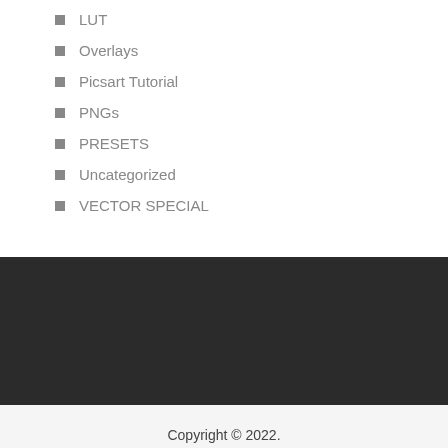LUT
Overlays
Picsart Tutorial
PNGs
PRESETS
Uncategorized
VECTOR SPECIAL
Copyright © 2022.
Back to Top ↑